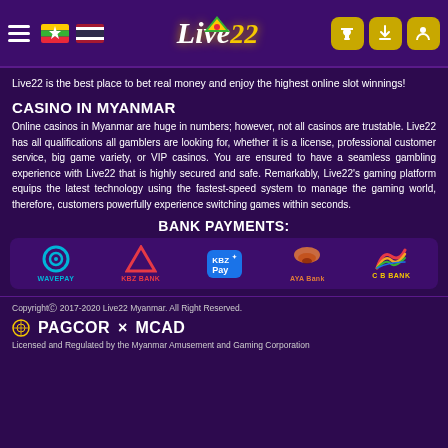[Figure (logo): Live22 website header with hamburger menu, Myanmar and Thailand flags, Live22 logo, phone/download/profile icon buttons]
Live22 is the best place to bet real money and enjoy the highest online slot winnings!
CASINO IN MYANMAR
Online casinos in Myanmar are huge in numbers; however, not all casinos are trustable. Live22 has all qualifications all gamblers are looking for, whether it is a license, professional customer service, big game variety, or VIP casinos. You are ensured to have a seamless gambling experience with Live22 that is highly secured and safe. Remarkably, Live22's gaming platform equips the latest technology using the fastest-speed system to manage the gaming world, therefore, customers powerfully experience switching games within seconds.
BANK PAYMENTS:
[Figure (logo): Bank payment logos: WavePay, KBZ Bank, KBZ Pay, AYA Bank, CB Bank]
Copyright © 2017-2020 Live22 Myanmar. All Right Reserved.
[Figure (logo): PAGCOR and MCAD license logos]
Licensed and Regulated by the Myanmar Amusement and Gaming Corporation